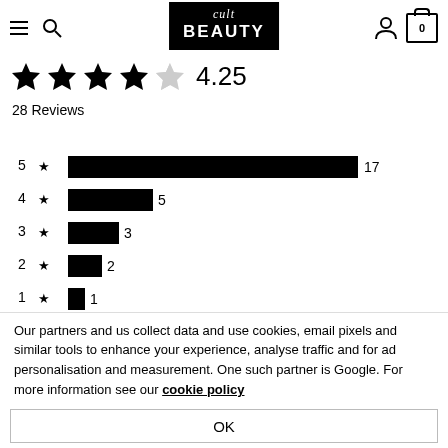Cult Beauty
[Figure (bar-chart): Review star distribution]
4.25
28 Reviews
Our partners and us collect data and use cookies, email pixels and similar tools to enhance your experience, analyse traffic and for ad personalisation and measurement. One such partner is Google. For more information see our cookie policy
OK